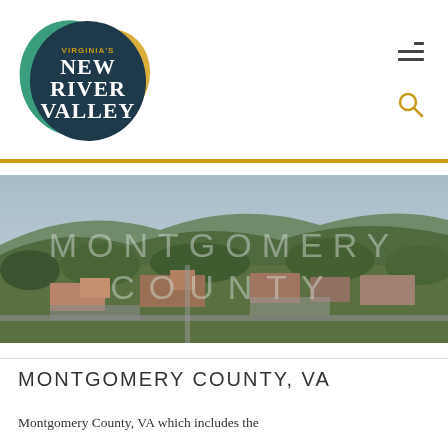[Figure (logo): Virginia's New River Valley logo — dark teal blob with green and gold blobs, text reads VIRGINIA'S NEW RIVER VALLEY]
[Figure (photo): Aerial photo of Montgomery County, VA showing suburban development, shopping centers, and forested hills in the background. Large semi-transparent text MONTGOMERY COUNTY overlaid on the image.]
MONTGOMERY COUNTY, VA
Montgomery County, VA which includes the